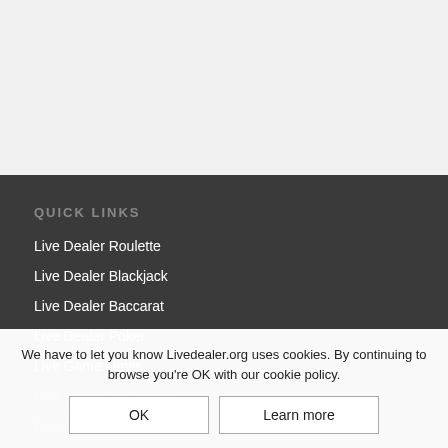QUICK LINKS
Live Dealer Roulette
Live Dealer Blackjack
Live Dealer Baccarat
Live Dealer Poker
Live Game Limits
Live dealers on Mobile
Dealer of the Week
Demo Game Videos
Contact
We have to let you know Livedealer.org uses cookies. By continuing to browse you're OK with our cookie policy.
OK
Learn more